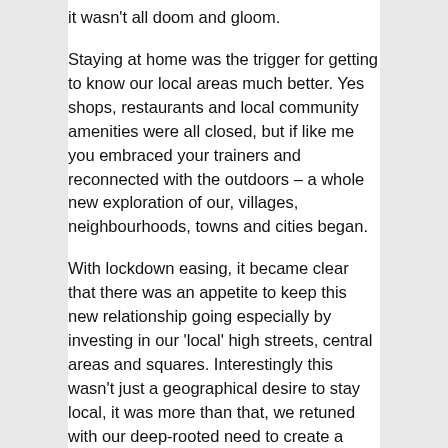it wasn't all doom and gloom.
Staying at home was the trigger for getting to know our local areas much better. Yes shops, restaurants and local community amenities were all closed, but if like me you embraced your trainers and reconnected with the outdoors – a whole new exploration of our, villages, neighbourhoods, towns and cities began.
With lockdown easing, it became clear that there was an appetite to keep this new relationship going especially by investing in our 'local' high streets, central areas and squares. Interestingly this wasn't just a geographical desire to stay local, it was more than that, we retuned with our deep-rooted need to create a community around us.
Past generations have always had a greater affinity with their local communities, with many growing up, working, living and growing old in the same town, village or city.? Over the last 25 years our city centres have become the magnet for workers, entertainment and leisure –post-